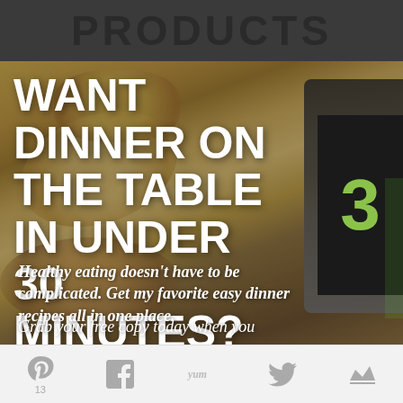PRODUCTS
[Figure (photo): Background photo of food items including pasta/noodles and other ingredients on a wooden surface, blurred/bokeh style. A tablet/book with a green number is partially visible on the right side.]
WANT DINNER ON THE TABLE IN UNDER 30 MINUTES?
Healthy eating doesn't have to be complicated. Get my favorite easy dinner recipes all in one place.
Grab your free copy today when you
Pinterest 13  Facebook  Yum  Twitter  Crown